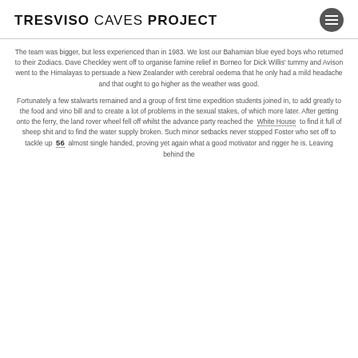TRESVISO CAVES PROJECT
The team was bigger, but less experienced than in 1983. We lost our Bahamian blue eyed boys who returned to their Zodiacs. Dave Checkley went off to organise famine relief in Borneo for Dick Willis' tummy and Avison went to the Himalayas to persuade a New Zealander with cerebral oedema that he only had a mild headache and that ought to go higher as the weather was good.
Fortunately a few stalwarts remained and a group of first time expedition students joined in, to add greatly to the food and vino bill and to create a lot of problems in the sexual stakes, of which more later. After getting onto the ferry, the land rover wheel fell off whilst the advance party reached the White House to find it full of sheep shit and to find the water supply broken. Such minor setbacks never stopped Foster who set off to tackle up 56 almost single handed, proving yet again what a good motivator and rigger he is. Leaving behind the